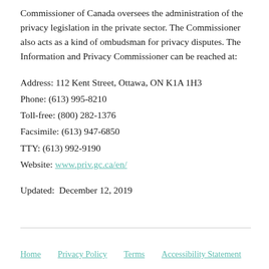Commissioner of Canada oversees the administration of the privacy legislation in the private sector. The Commissioner also acts as a kind of ombudsman for privacy disputes. The Information and Privacy Commissioner can be reached at:
Address: 112 Kent Street, Ottawa, ON K1A 1H3
Phone: (613) 995-8210
Toll-free: (800) 282-1376
Facsimile: (613) 947-6850
TTY: (613) 992-9190
Website: www.priv.gc.ca/en/
Updated:  December 12, 2019
Home    Privacy Policy    Terms    Accessibility Statement